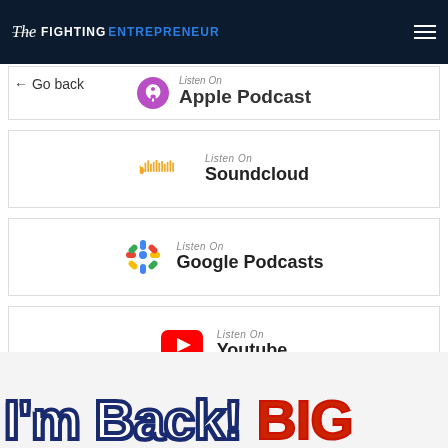The Fighting Entrepreneur
Spotify
← Go back
Apple Podcast
Listen On Soundcloud
Listen On Google Podcasts
Listen On Youtube
[Figure (screenshot): I'm Back! BIG text banner at bottom of page]